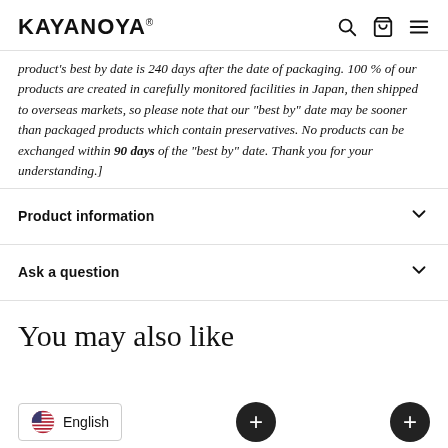KAYANOYA
product's best by date is 240 days after the date of packaging. 100 % of our products are created in carefully monitored facilities in Japan, then shipped to overseas markets, so please note that our "best by" date may be sooner than packaged products which contain preservatives. No products can be exchanged within 90 days of the "best by" date. Thank you for your understanding.]
Product information
Ask a question
You may also like